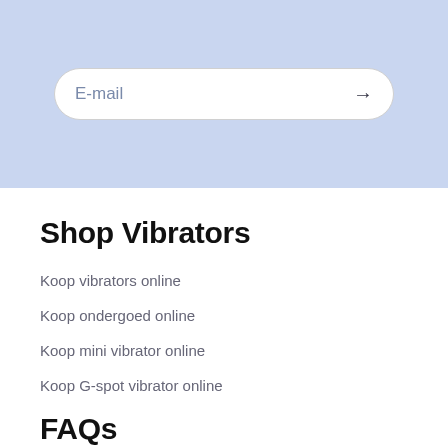E-mail →
Shop Vibrators
Koop vibrators online
Koop ondergoed online
Koop mini vibrator online
Koop G-spot vibrator online
FAQs